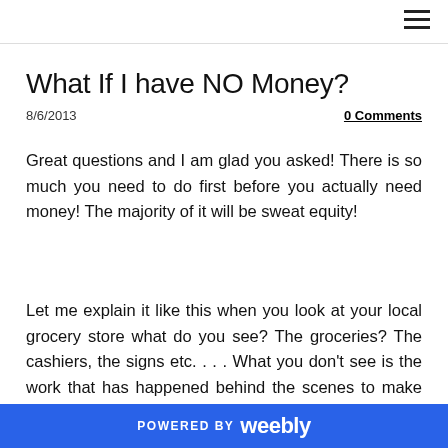≡
What If I have NO Money?
8/6/2013
0 Comments
Great questions and I am glad you asked! There is so much you need to do first before you actually need money! The majority of it will be sweat equity!
Let me explain it like this when you look at your local grocery store what do you see? The groceries? The cashiers, the signs etc. . . . What you don't see is the work that has happened behind the scenes to make all
POWERED BY weebly